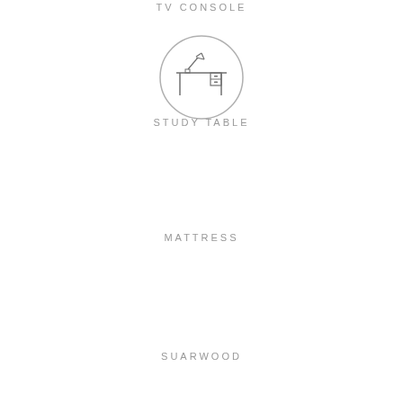TV CONSOLE
[Figure (illustration): Line drawing icon of a study table with a lamp and small drawer unit, enclosed in a circle]
STUDY TABLE
MATTRESS
SUARWOOD